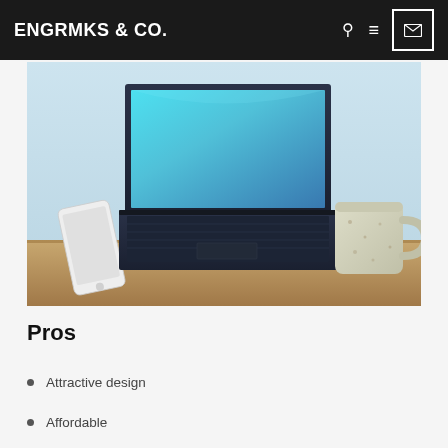ENGRMKS & CO.
[Figure (photo): A dark-blue Chromebook/laptop open on a wooden desk, with a white smartphone lying to the left and a speckled ceramic mug to the right, against a light blue-grey wall background.]
Pros
Attractive design
Affordable